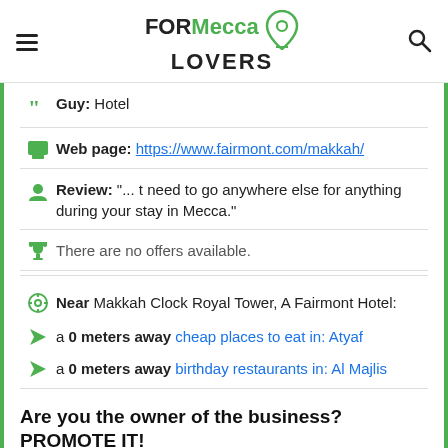FORMecca LOVERS
Guy: Hotel
Web page: https://www.fairmont.com/makkah/
Review: "... t need to go anywhere else for anything during your stay in Mecca."
There are no offers available.
Near Makkah Clock Royal Tower, A Fairmont Hotel:
a 0 meters away cheap places to eat in: Atyaf
a 0 meters away birthday restaurants in: Al Majlis
Are you the owner of the business? PROMOTE IT!
BE THE 1ST IN THE RANKING